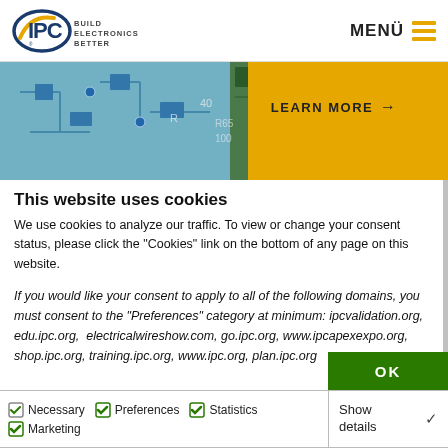IPC — BUILD ELECTRONICS BETTER | MENÜ
[Figure (photo): IPC website banner showing circuit board with Learn More button]
This website uses cookies
We use cookies to analyze our traffic. To view or change your consent status, please click the "Cookies" link on the bottom of any page on this website.
If you would like your consent to apply to all of the following domains, you must consent to the "Preferences" category at minimum: ipcvalidation.org, edu.ipc.org,  electricalwireshow.com, go.ipc.org, www.ipcapexexpo.org, shop.ipc.org, training.ipc.org, www.ipc.org, plan.ipc.org
OK
Necessary | Preferences | Statistics | Marketing | Show details